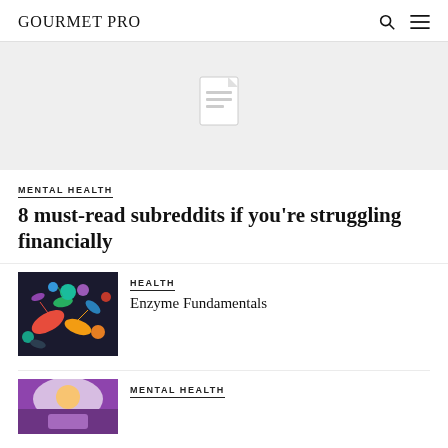GOURMET PRO
[Figure (illustration): Light gray placeholder hero image with a white document/file icon in the center]
MENTAL HEALTH
8 must-read subreddits if you're struggling financially
[Figure (photo): Colorful microscopic bacteria illustration with vibrant colors including teal, orange, yellow, blue, and red bacteria on a dark background]
HEALTH
Enzyme Fundamentals
[Figure (photo): Partially visible image with purple/violet tones, appears to be a person or scene]
MENTAL HEALTH